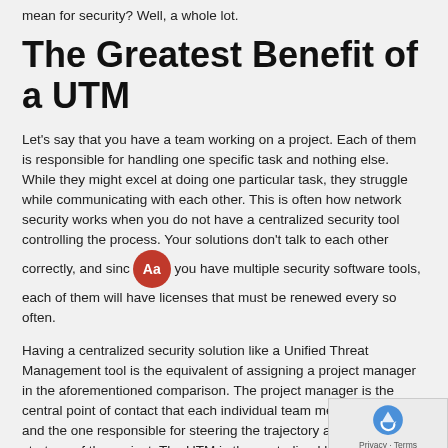mean for security? Well, a whole lot.
The Greatest Benefit of a UTM
Let's say that you have a team working on a project. Each of them is responsible for handling one specific task and nothing else. While they might excel at doing one particular task, they struggle while communicating with each other. This is often how network security works when you do not have a centralized security tool controlling the process. Your solutions don't talk to each other correctly, and since you have multiple security software tools, each of them will have licenses that must be renewed every so often.
Having a centralized security solution like a Unified Threat Management tool is the equivalent of assigning a project manager in the aforementioned comparison. The project manager is the central point of contact that each individual team member reports to and the one responsible for steering the trajectory and overall strategy of the project. The UTM is the centralized hub of your cybersecurity infrastructure, each individual aspect of it serving as one of the spokes that keep it together.